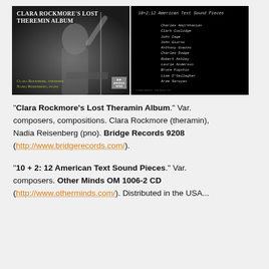[Figure (photo): Album cover for Clara Rockmore's Lost Theremin Album showing a woman playing theremin, black and white photo. Left image shows the cover with title text and performer credits. Right image shows a black cover with handwritten track listing for '10 + 2: 12 American Text Sound Pieces'.]
"Clara Rockmore's Lost Theramin Album." Var. composers, compositions. Clara Rockmore (theramin), Nadia Reisenberg (pno). Bridge Records 9208 (http://www.bridgerecords.com/).
"10 + 2: 12 American Text Sound Pieces." Var. composers. Other Minds OM 1006-2 CD (http://www.otherminds.com/). Distributed in the USA...